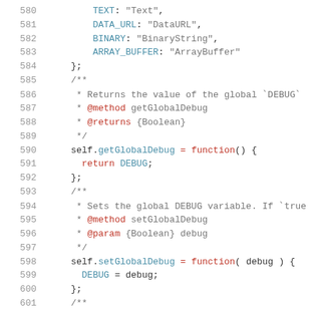Code listing lines 580-601 showing JavaScript source code with JSDoc comments. Lines include object property definitions (TEXT, DATA_URL, BINARY, ARRAY_BUFFER), a getGlobalDebug function returning DEBUG, and a setGlobalDebug function setting DEBUG variable.